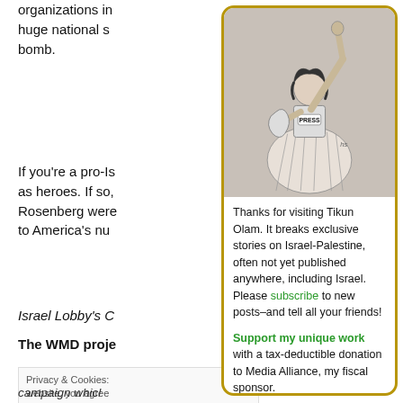organizations in huge national s bomb.
If you're a pro-Is as heroes. If so, Rosenberg were to America's nu
Israel Lobby's C
The WMD proje
Privacy & Cookies: website, you agree To find out more, i Policy
[Figure (illustration): Illustration of a woman in press vest with arm raised, styled like Statue of Liberty, holding a map shape, labeled PRESS]
Thanks for visiting Tikun Olam. It breaks exclusive stories on Israel-Palestine, often not yet published anywhere, including Israel. Please subscribe to new posts–and tell all your friends!
Support my unique work with a tax-deductible donation to Media Alliance, my fiscal sponsor.
campaign whic